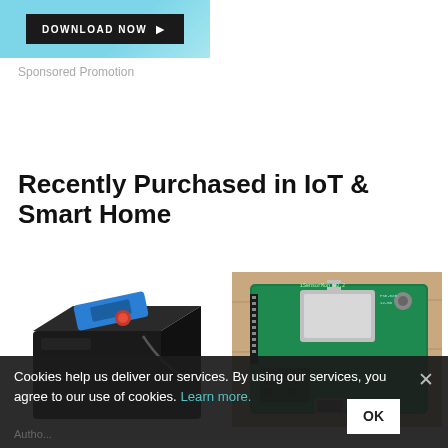[Figure (screenshot): Blue and teal ad banner with a black Download Now button with arrow]
Sponsored Promotion
Recently Purchased in IoT & Smart Home
[Figure (photo): IoT device in black packaging with blue component on top]
[Figure (photo): Green circuit board PCB with ESP module and terminal connectors]
Cookies help us deliver our services. By using our services, you agree to our use of cookies. Learn more. OK